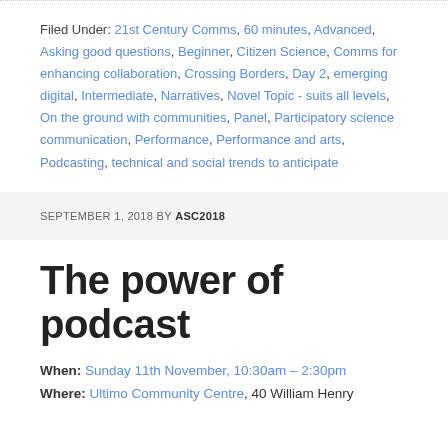Filed Under: 21st Century Comms, 60 minutes, Advanced, Asking good questions, Beginner, Citizen Science, Comms for enhancing collaboration, Crossing Borders, Day 2, emerging digital, Intermediate, Narratives, Novel Topic - suits all levels, On the ground with communities, Panel, Participatory science communication, Performance, Performance and arts, Podcasting, technical and social trends to anticipate
SEPTEMBER 1, 2018 BY ASC2018
The power of podcast
When: Sunday 11th November, 10:30am – 2:30pm
Where: Ultimo Community Centre, 40 William Henry